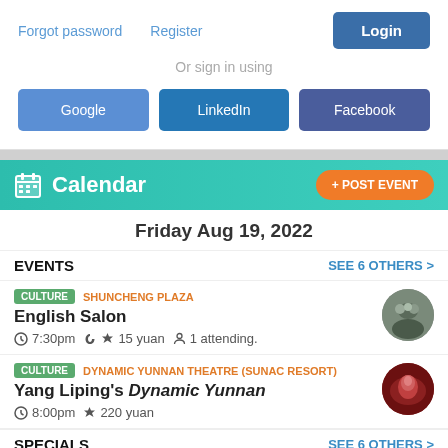Forgot password   Register   Login
Or sign in using
Google   LinkedIn   Facebook
Calendar   + POST EVENT
Friday Aug 19, 2022
EVENTS   SEE 6 OTHERS >
CULTURE  SHUNCHENG PLAZA
English Salon
7:30pm  15 yuan  1 attending.
CULTURE  DYNAMIC YUNNAN THEATRE (SUNAC RESORT)
Yang Liping's Dynamic Yunnan
8:00pm  220 yuan
SPECIALS   SEE 6 OTHERS >